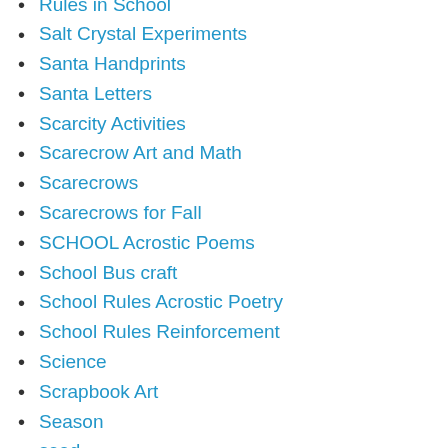Rules in School
Salt Crystal Experiments
Santa Handprints
Santa Letters
Scarcity Activities
Scarecrow Art and Math
Scarecrows
Scarecrows for Fall
SCHOOL Acrostic Poems
School Bus craft
School Rules Acrostic Poetry
School Rules Reinforcement
Science
Scrapbook Art
Season
seed
Sherm the Germ